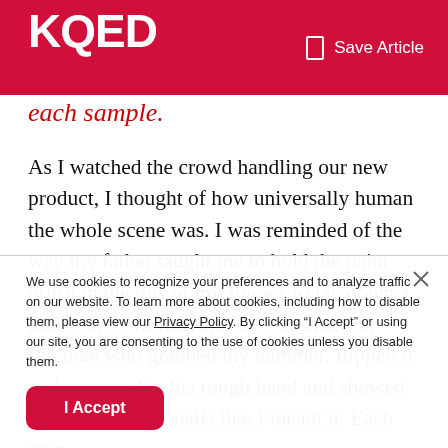KQED | Save Article
each sample.
As I watched the crowd handling our new product, I thought of how universally human the whole scene was. I was reminded of the way my father taught me to hold the paint brush in the tips of my fingers to lay down a thin coat of varnish and the construction foreman who grabbed my hammer, flipped it end-over-end in his rough hand and showed me how to drive nails like I meant it. Each man
We use cookies to recognize your preferences and to analyze traffic on our website. To learn more about cookies, including how to disable them, please view our Privacy Policy. By clicking “I Accept” or using our site, you are consenting to the use of cookies unless you disable them.
I Accept